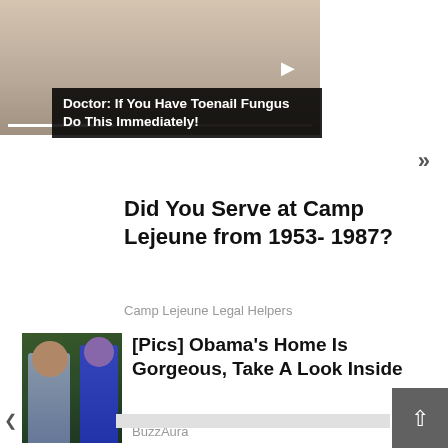[Figure (screenshot): Video thumbnail of toenail fungus close-up with play button and progress bar]
Doctor: If You Have Toenail Fungus Do This Immediately!
»
Did You Serve at Camp Lejeune from 1953- 1987?
Camp Lejeune Legal Helpers
[Figure (photo): Photo of two people outdoors, a man wearing sunglasses and a woman wearing sunglasses]
[Pics] Obama's Home Is Gorgeous, Take A Look Inside
BuzzAura